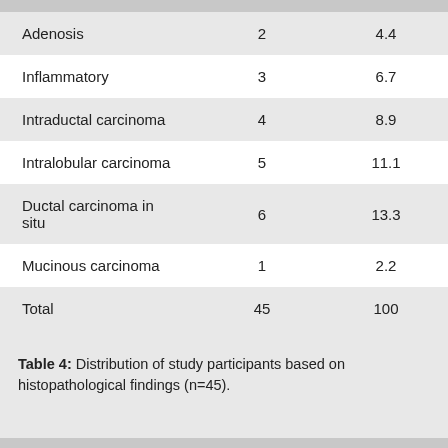| Adenosis | 2 | 4.4 |
| Inflammatory | 3 | 6.7 |
| Intraductal carcinoma | 4 | 8.9 |
| Intralobular carcinoma | 5 | 11.1 |
| Ductal carcinoma in situ | 6 | 13.3 |
| Mucinous carcinoma | 1 | 2.2 |
| Total | 45 | 100 |
Table 4: Distribution of study participants based on histopathological findings (n=45).